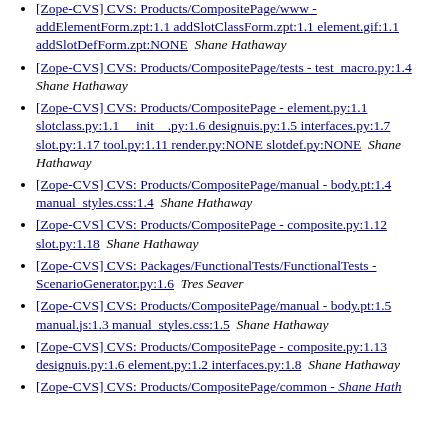[Zope-CVS] CVS: Products/CompositePage/www - addElementForm.zpt:1.1 addSlotClassForm.zpt:1.1 element.gif:1.1 addSlotDefForm.zpt:NONE  Shane Hathaway
[Zope-CVS] CVS: Products/CompositePage/tests - test_macro.py:1.4  Shane Hathaway
[Zope-CVS] CVS: Products/CompositePage - element.py:1.1 slotclass.py:1.1 __init__.py:1.6 designuis.py:1.5 interfaces.py:1.7 slot.py:1.17 tool.py:1.11 render.py:NONE slotdef.py:NONE  Shane Hathaway
[Zope-CVS] CVS: Products/CompositePage/manual - body.pt:1.4 manual_styles.css:1.4  Shane Hathaway
[Zope-CVS] CVS: Products/CompositePage - composite.py:1.12 slot.py:1.18  Shane Hathaway
[Zope-CVS] CVS: Packages/FunctionalTests/FunctionalTests - ScenarioGenerator.py:1.6  Tres Seaver
[Zope-CVS] CVS: Products/CompositePage/manual - body.pt:1.5 manual.js:1.3 manual_styles.css:1.5  Shane Hathaway
[Zope-CVS] CVS: Products/CompositePage - composite.py:1.13 designuis.py:1.6 element.py:1.2 interfaces.py:1.8  Shane Hathaway
[Zope-CVS] CVS: Products/CompositePage/common - ...  Shane Hathaway